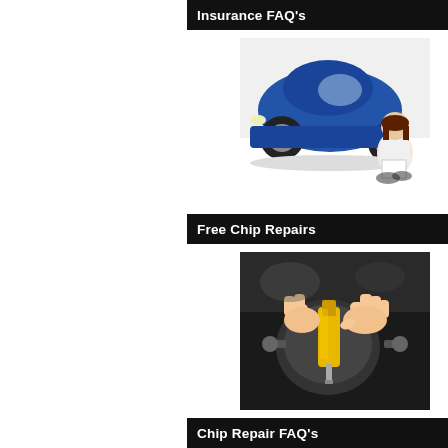Insurance FAQ's
[Figure (photo): Woman with long brown hair sitting beside a blue car, holding papers]
Free Chip Repairs
[Figure (photo): Hands using a yellow windshield chip repair tool/injector on a windscreen]
Chip Repair FAQ's